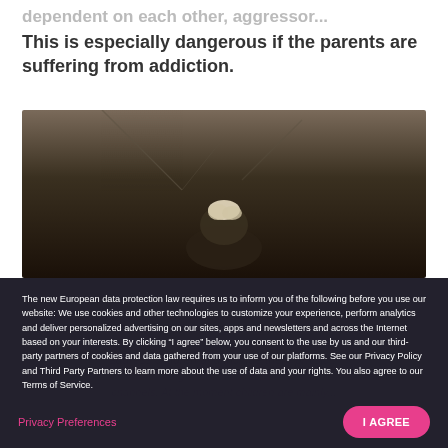This is especially dangerous if the parents are suffering from addiction.
[Figure (photo): Dark atmospheric photo showing a person with hands clasped or head bowed, dimly lit against a dark background.]
The new European data protection law requires us to inform you of the following before you use our website: We use cookies and other technologies to customize your experience, perform analytics and deliver personalized advertising on our sites, apps and newsletters and across the Internet based on your interests. By clicking “I agree” below, you consent to the use by us and our third-party partners of cookies and data gathered from your use of our platforms. See our Privacy Policy and Third Party Partners to learn more about the use of data and your rights. You also agree to our Terms of Service.
Privacy Preferences
I AGREE